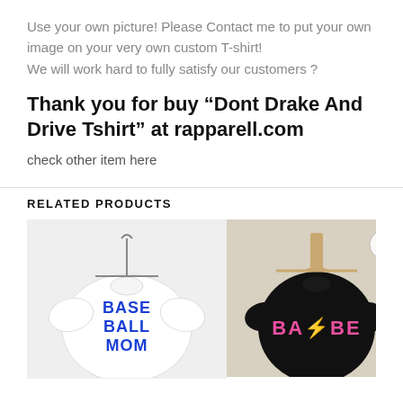Use your own picture! Please Contact me to put your own image on your very own custom T-shirt!
We will work hard to fully satisfy our customers ?
Thank you for buy “Dont Drake And Drive Tshirt” at rapparell.com
check other item here
RELATED PRODUCTS
[Figure (photo): White t-shirt on a wooden hanger with 'BASEBALL MOM' text in blue block letters]
[Figure (photo): Black t-shirt on a wooden hanger with 'BABE' text in pink AC/DC style lettering with lightning bolt, wishlist heart icon overlay]